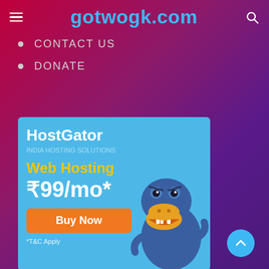gotwogk.com
CONTACT US
DONATE
[Figure (screenshot): HostGator advertisement banner with blue background. Shows 'HostGator' brand name, 'Web Hosting' in yellow, '₹99/mo*' price, an orange 'Buy Now' button, '*T&C Apply' disclaimer, and a cartoon alligator/gator mascot on the right side.]